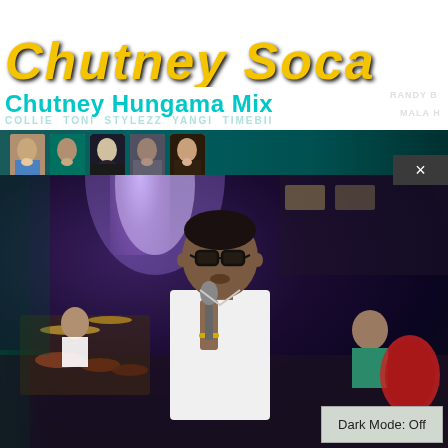[Figure (screenshot): Screenshot of a music video or promotional page showing 'Chutney Hungama Mix' with yellow stylized text header, cyan subtitle text, artist names including Randy B and Mala H visible, five artist face thumbnails in a teal bar, a close/X button overlay, and a main concert photo showing a male performer wearing glasses and a white shirt singing into a microphone on a dark stage with purple stage lighting, a drummer in background, and a 'Dark Mode: Off' button overlay in the bottom right.]